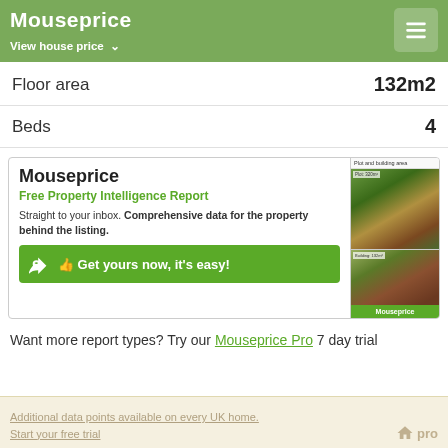Mouseprice — View house price
Floor area   132m2
Beds   4
[Figure (infographic): Mouseprice Free Property Intelligence Report advertisement banner with thumbnail aerial property images and 'Get yours now, it's easy!' button]
Want more report types? Try our Mouseprice Pro 7 day trial
Additional data points available on every UK home. Start your free trial